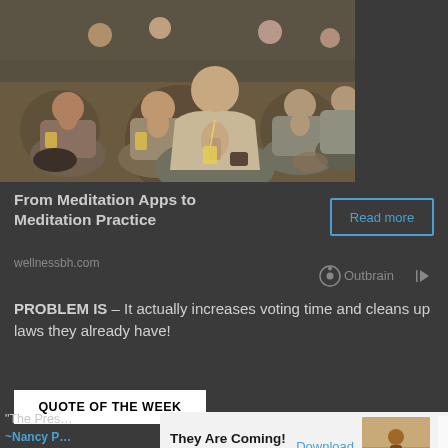[Figure (photo): Group of people sitting cross-legged in a meditation or yoga class, hands in prayer position, on patterned carpet in a large room]
From Meditation Apps to Meditation Practice
Read more
wellnessbh.com
[Figure (logo): Outbrain logo with arrow icon]
PROBLEM IS – It actually increases voting time and cleans up laws they already have!
QUOTE OF THE WEEK
“The Pres…
~Nancy P…
[Figure (screenshot): Ad overlay: They Are Coming! by Rollic Games with Download button and game screenshot with Ad badge. reCAPTCHA widget visible on right.]